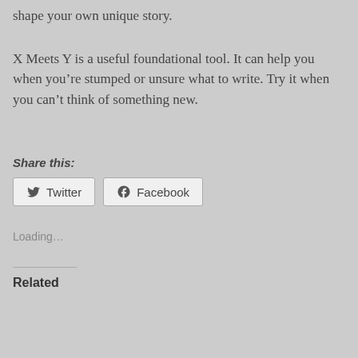shape your own unique story.
X Meets Y is a useful foundational tool. It can help you when you’re stumped or unsure what to write. Try it when you can’t think of something new.
Share this:
Twitter
Facebook
Loading…
Related